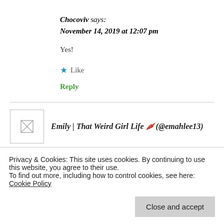Chocoviv says:
November 14, 2019 at 12:07 pm
Yes!
★ Like
Reply
Emily | That Weird Girl Life 🌶️ (@emahlee13)
Privacy & Cookies: This site uses cookies. By continuing to use this website, you agree to their use.
To find out more, including how to control cookies, see here: Cookie Policy
Close and accept
and culture and the FOOD. I think Vietnam is now